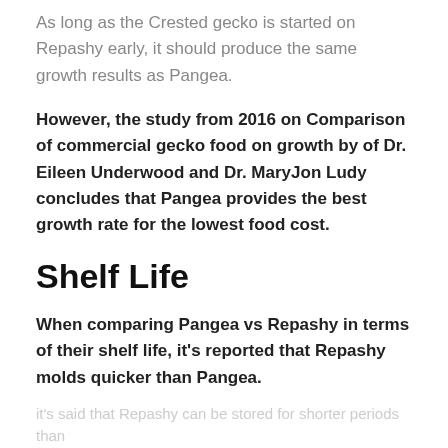As long as the Crested gecko is started on Repashy early, it should produce the same growth results as Pangea.
However, the study from 2016 on Comparison of commercial gecko food on growth by of Dr. Eileen Underwood and Dr. MaryJon Ludy concludes that Pangea provides the best growth rate for the lowest food cost.
Shelf Life
When comparing Pangea vs Repashy in terms of their shelf life, it's reported that Repashy molds quicker than Pangea.
...